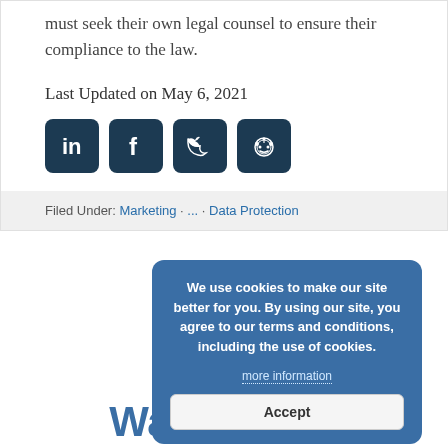must seek their own legal counsel to ensure their compliance to the law.
Last Updated on May 6, 2021
[Figure (other): Social media share icons: LinkedIn, Facebook, Twitter, Reddit]
Filed Under: Marketing ... Data Protection
We use cookies to make our site better for you. By using our site, you agree to our terms and conditions, including the use of cookies.
more information
Accept
Want better